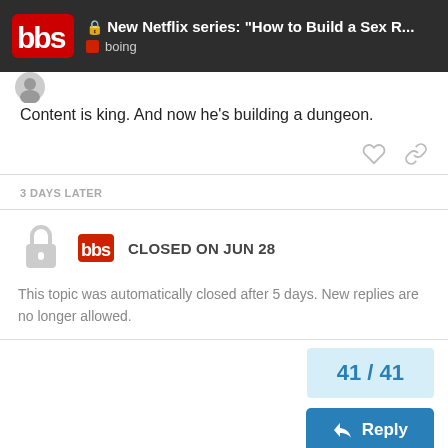🔒 New Netflix series: "How to Build a Sex R..." | boing
Content is king. And now he's building a dungeon.
3 DAYS LATER
CLOSED ON JUN 28
This topic was automatically closed after 5 days. New replies are no longer allowed.
41 / 41
← Reply
ADVERTISEMENT